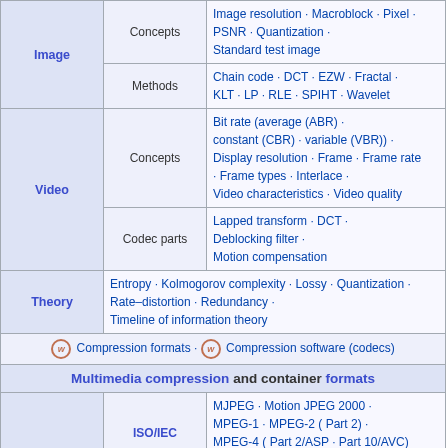| Category | Subcategory | Links |
| --- | --- | --- |
| Image | Concepts | Image resolution · Macroblock · Pixel · PSNR · Quantization · Standard test image |
| Image | Methods | Chain code · DCT · EZW · Fractal · KLT · LP · RLE · SPIHT · Wavelet |
| Video | Concepts | Bit rate (average (ABR) · constant (CBR) · variable (VBR)) · Display resolution · Frame · Frame rate · Frame types · Interlace · Video characteristics · Video quality |
| Video | Codec parts | Lapped transform · DCT · Deblocking filter · Motion compensation |
| Theory |  | Entropy · Kolmogorov complexity · Lossy · Quantization · Rate–distortion · Redundancy · Timeline of information theory |
|  |  | Compression formats · Compression software (codecs) |
| Multimedia compression and container formats |  |  |
| ISO/IEC |  | MJPEG · Motion JPEG 2000 · MPEG-1 · MPEG-2 ( Part 2) · MPEG-4 ( Part 2/ASP · Part 10/AVC) · MPEG-H ( Part 2/HEVC) |